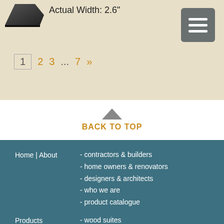[Figure (photo): Dark gray/black product image of a molding or trim piece, shown in top-left corner]
Actual Width: 2.6"
[Figure (other): Gray menu button with three horizontal white bars (hamburger icon)]
1  2  3  ...  7  »
▲
BACK TO TOP
Home | About    - contractors & builders
- home owners & renovators
- designers & architects
- who we are
- product catalogue
Products    - wood suites
- mdf suites